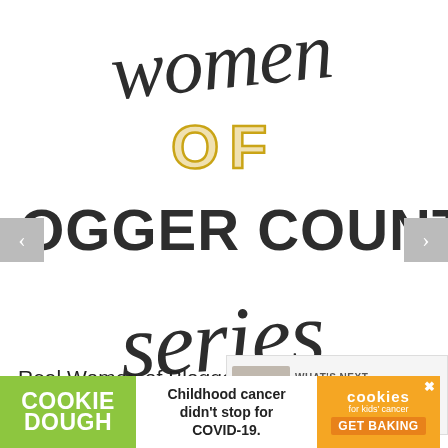[Figure (logo): Women of Blogger County Series logo/graphic with decorative script text 'women', bold outlined gold 'OF', bold sans-serif 'BLOGGER COUNTY', and script 'series']
Real Women of Blogger County • meesh u blog
[Figure (infographic): What's Next panel showing thumbnail image and text 'WHAT'S NEXT → FREE SVG Cut Files for Cri...']
[Figure (infographic): Cookie Dough ad banner: 'Childhood cancer didn't stop for COVID-19.' with cookies for kids cancer GET BAKING]